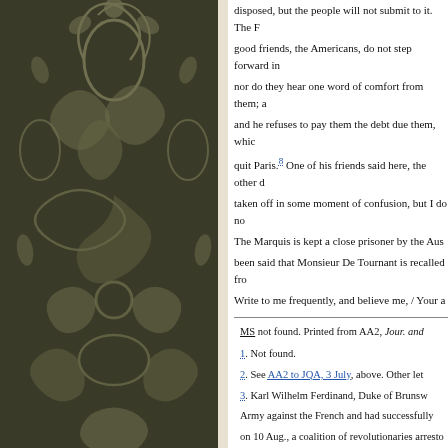disposed, but the people will not submit to it. The F... good friends, the Americans, do not step forward in... nor do they hear one word of comfort from them; a... and he refuses to pay them the debt due them, which... quit Paris.8 One of his friends said here, the other d... taken off in some moment of confusion, but I do no...
The Marquis is kept a close prisoner by the Aus... been said that Monsieur De Tournant is recalled fro...
Write to me frequently, and believe me, / Your a...
MS not found. Printed from AA2, Jour. and ...
1. Not found.
2. See AA2 to JQA, 3 July, above. Other let...
3. Karl Wilhelm Ferdinand, Duke of Brunsw... Army against the French and had successfully... on 10 Aug., a coalition of revolutionaries arresto... (Bosher, French Rev., p. 168). See also Descri...
4. Louis Marie, Vicomte de Noailles (1756-... between 1780 and 1782. He emigrated to the U... Philadelphia Federal Gazette, 8 May 1793). "M... Joseph, Marquis de Laborde-Méreville (1761-...